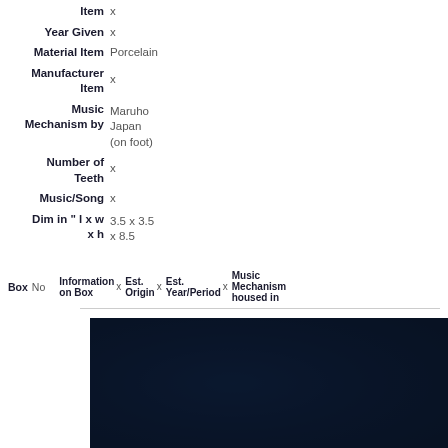Item  x
Year Given  x
Material Item  Porcelain
Manufacturer Item  x
Music Mechanism by  Maruho Japan (on foot)
Number of Teeth  x
Music/Song  x
Dim in " l x w x h  3.5 x 3.5 x 8.5
Box  No   Information on Box  x   Est. Origin  x   Est. Year/Period  x   Music Mechanism housed in
[Figure (photo): Dark navy blue background photo, item partially visible]